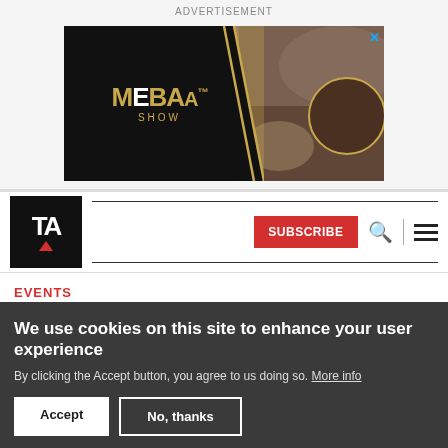ADVERTISEMENT
[Figure (photo): MEBAA Show advertisement banner with black background, gold MEBAA logo on left, diagonal divider, and luxury aviation interior photo on right with close button]
[Figure (logo): TA (Travel & Aviation) logo - black square with white TA letters and red triangle below]
SUBSCRIBE
EVENTS
20 May 2022
We use cookies on this site to enhance your user experience
By clicking the Accept button, you agree to us doing so. More info
Accept
No, thanks